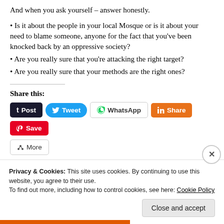And when you ask yourself – answer honestly.
Is it about the people in your local Mosque or is it about your need to blame someone, anyone for the fact that you've been knocked back by an oppressive society?
Are you really sure that you're attacking the right target?
Are you really sure that your methods are the right ones?
Share this:
[Figure (screenshot): Social share buttons: Post (Tumblr), Tweet (Twitter), WhatsApp, Share (LinkedIn), Save (Pinterest), More]
Privacy & Cookies: This site uses cookies. By continuing to use this website, you agree to their use. To find out more, including how to control cookies, see here: Cookie Policy
Close and accept